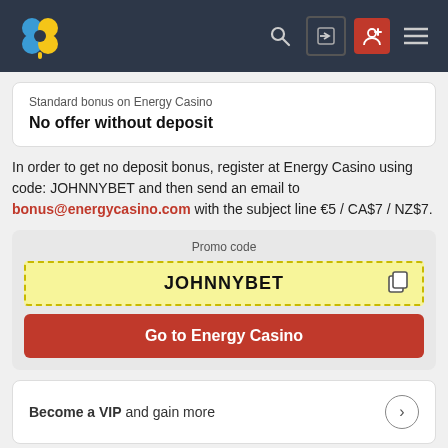Energy Casino - navigation header with logo, search, login, register, and menu icons
Standard bonus on Energy Casino
No offer without deposit
In order to get no deposit bonus, register at Energy Casino using code: JOHNNYBET and then send an email to bonus@energycasino.com with the subject line €5 / CA$7 / NZ$7.
Promo code
JOHNNYBET
Go to Energy Casino
Become a VIP and gain more